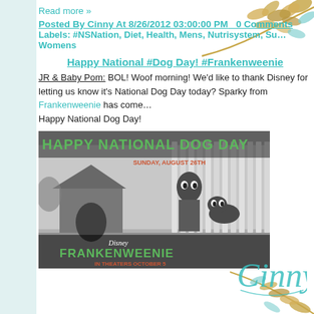Read more »
Posted By Cinny At 8/26/2012 03:00:00 PM   0 Comments
Labels: #NSNation, Diet, Health, Mens, Nutrisystem, Su... Womens
Happy National #Dog Day! #Frankenweenie
JR & Baby Pom: BOL! Woof morning! We'd like to thank Disney for letting us know it's National Dog Day today? Sparky from Frankenweenie has come... Happy National Dog Day!
[Figure (photo): Frankenweenie Happy National Dog Day promotional image showing animated black-and-white characters of a boy and his dog Sparky in front of a dog house, with text 'HAPPY NATIONAL DOG DAY SUNDAY, AUGUST 26TH' and 'FRANKENWEENIE IN THEATERS OCTOBER 5']